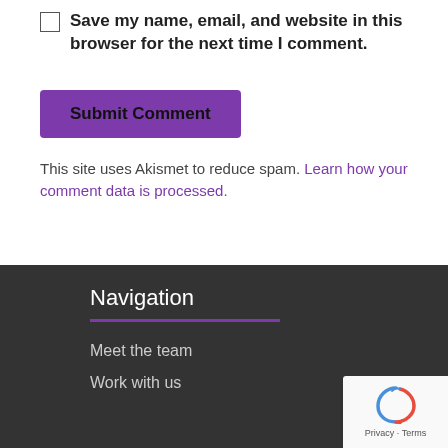Save my name, email, and website in this browser for the next time I comment.
Submit Comment
This site uses Akismet to reduce spam. Learn how your comment data is processed.
Navigation
Meet the team
Work with us